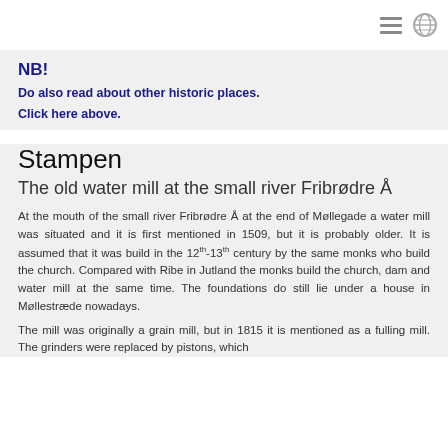[hamburger menu icon] [globe icon]
NB!
Do also read about other historic places.
Click here above.
Stampen
The old water mill at the small river Fribrødre Å
At the mouth of the small river Fribrødre Å at the end of Møllegade a water mill was situated and it is first mentioned in 1509, but it is probably older. It is assumed that it was build in the 12th-13th century by the same monks who build the church. Compared with Ribe in Jutland the monks build the church, dam and water mill at the same time. The foundations do still lie under a house in Møllestræde nowadays.
The mill was originally a grain mill, but in 1815 it is mentioned as a fulling mill. The grinders were replaced by pistons, which